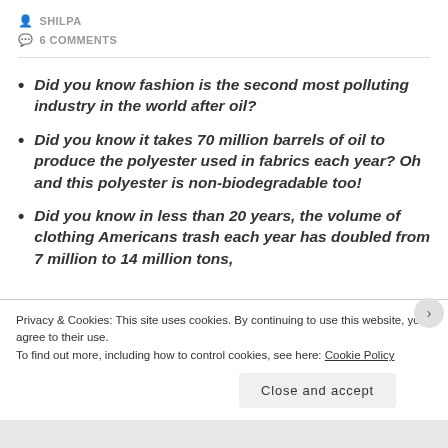SHILPA
6 COMMENTS
Did you know fashion is the second most polluting industry in the world after oil?
Did you know it takes 70 million barrels of oil to produce the polyester used in fabrics each year? Oh and this polyester is non-biodegradable too!
Did you know in less than 20 years, the volume of clothing Americans trash each year has doubled from 7 million to 14 million tons,
Privacy & Cookies: This site uses cookies. By continuing to use this website, you agree to their use.
To find out more, including how to control cookies, see here: Cookie Policy
Close and accept